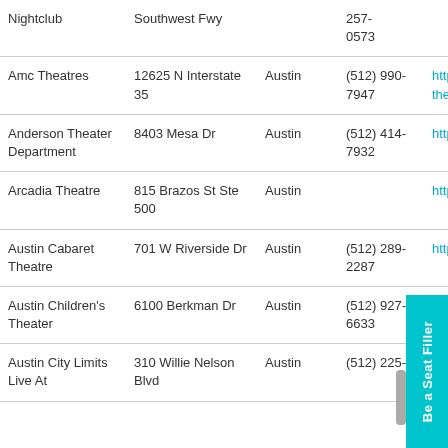| Name | Address | City | Phone | Website |
| --- | --- | --- | --- | --- |
| Nightclub | Southwest Fwy |  | 257-0573 |  |
| Amc Theatres | 12625 N Interstate 35 | Austin | (512) 990-7947 | https://w theatres, |
| Anderson Theater Department | 8403 Mesa Dr | Austin | (512) 414-7932 | https://w |
| Arcadia Theatre | 815 Brazos St Ste 500 | Austin |  | https://w |
| Austin Cabaret Theatre | 701 W Riverside Dr | Austin | (512) 289-2287 | http://ww |
| Austin Children's Theater | 6100 Berkman Dr | Austin | (512) 927-6633 | https |
| Austin City Limits Live At | 310 Willie Nelson Blvd | Austin | (512) 225- | https |